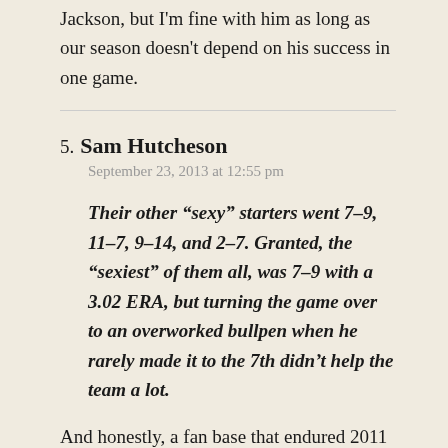Jackson, but I'm fine with him as long as our season doesn't depend on his success in one game.
5. Sam Hutcheson
September 23, 2013 at 12:55 pm
Their other “sexy” starters went 7-9, 11-7, 9-14, and 2-7. Granted, the “sexiest” of them all, was 7-9 with a 3.02 ERA, but turning the game over to an overworked bullpen when he rarely made it to the 7th didn’t help the team a lot.
And honestly, a fan base that endured 2011 shouldn’t need to be reminded of the value of having someone in the back end of the...